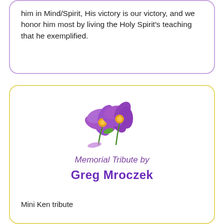him in Mind/Spirit, His victory is our victory, and we honor him most by living the Holy Spirit's teaching that he exemplified.
[Figure (illustration): Two purple crocus flowers with orange centers and green stems, overlapping each other on a white background.]
Memorial Tribute by
Greg Mroczek
Mini Ken tribute